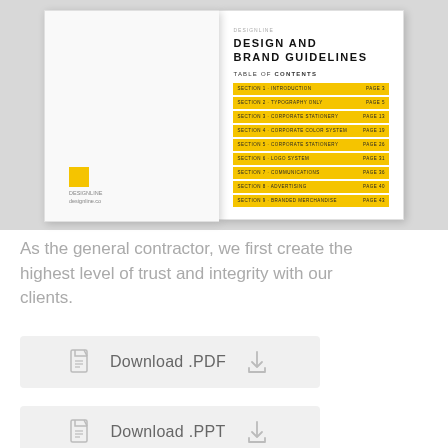[Figure (illustration): Open book spread showing Design and Brand Guidelines document. Left page is blank white with a small yellow square logo and small text at the bottom. Right page shows 'DESIGN AND BRAND GUIDELINES' as the title and a TABLE OF CONTENTS with 9 yellow highlighted rows listing sections and page numbers.]
As the general contractor, we first create the highest level of trust and integrity with our clients.
Download .PDF
Download .PPT